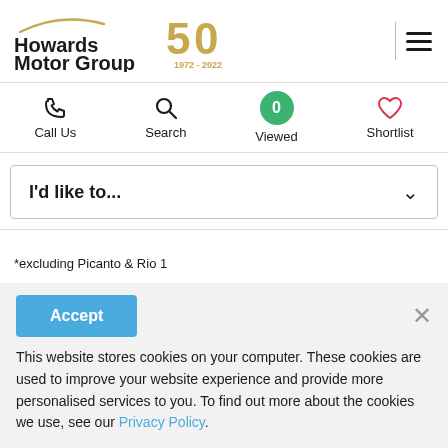[Figure (logo): Howards Motor Group logo with 50th anniversary badge (1972-2022)]
[Figure (infographic): Navigation bar with Call Us (phone icon), Search (magnifying glass icon), Viewed (0 in green circle), Shortlist (heart icon)]
I'd like to...
*excluding Picanto & Rio 1
Accept
This website stores cookies on your computer. These cookies are used to improve your website experience and provide more personalised services to you. To find out more about the cookies we use, see our Privacy Policy.